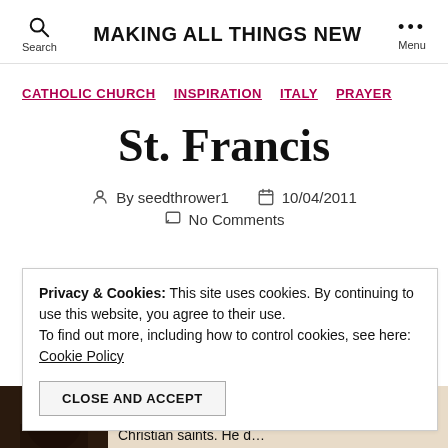MAKING ALL THINGS NEW
CATHOLIC CHURCH
INSPIRATION
ITALY
PRAYER
St. Francis
By seedthrower1   10/04/2011
No Comments
Privacy & Cookies: This site uses cookies. By continuing to use this website, you agree to their use. To find out more, including how to control cookies, see here: Cookie Policy
CLOSE AND ACCEPT
...one of the great Christian saints. He d...